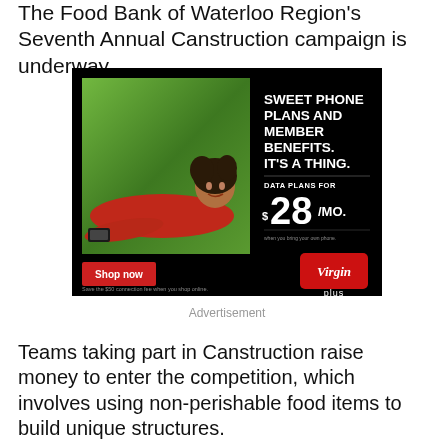The Food Bank of Waterloo Region's Seventh Annual Canstruction campaign is underway.
[Figure (photo): Virgin Plus advertisement showing a woman in a red dress lying on grass with a phone, advertising sweet phone plans and member benefits, data plans for $28/mo., with a 'Shop now' button and Virgin Plus logo.]
Advertisement
Teams taking part in Canstruction raise money to enter the competition, which involves using non-perishable food items to build unique structures.